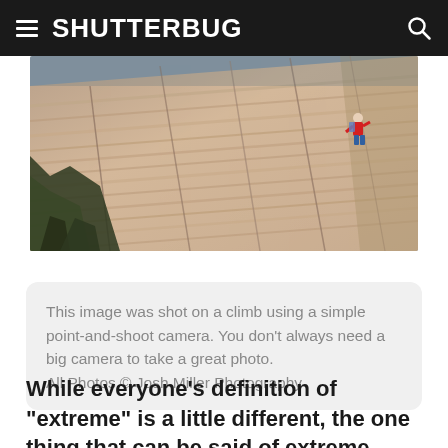SHUTTERBUG
[Figure (photo): Aerial or high-angle photograph of a rocky mountain cliff face with diagonal striations. A climber in a red jacket is visible on the right side of the rock face. Trees are visible in the lower left corner.]
This image was shot on a climb using a simple point-and-shoot camera. You don't always need a big camera to take a great photo.
All Photos © Josh Miller Photography
While everyone's definition of “extreme” is a little different, the one thing that can be said of extreme outdoor photography is it involves leaving the car far